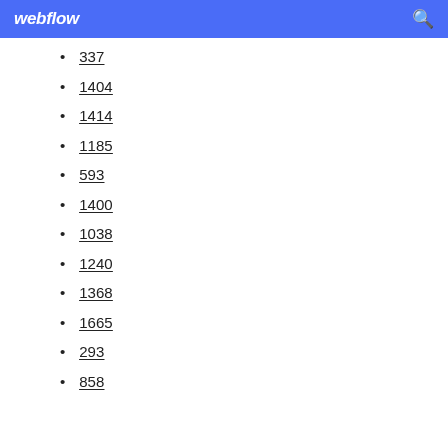webflow
337
1404
1414
1185
593
1400
1038
1240
1368
1665
293
858